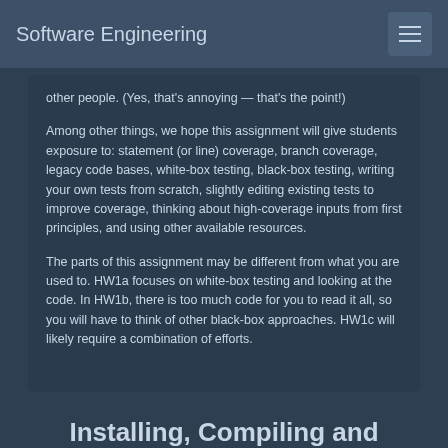Software Engineering
other people. (Yes, that's annoying — that's the point!)
Among other things, we hope this assignment will give students exposure to: statement (or line) coverage, branch coverage, legacy code bases, white-box testing, black-box testing, writing your own tests from scratch, slightly editing existing tests to improve coverage, thinking about high-coverage inputs from first principles, and using other available resources.
The parts of this assignment may be different from what you are used to. HW1a focuses on white-box testing and looking at the code. In HW1b, there is too much code for you to read it all, so you will have to think of other black-box approaches. HW1c will likely require a combination of efforts.
Installing, Compiling and